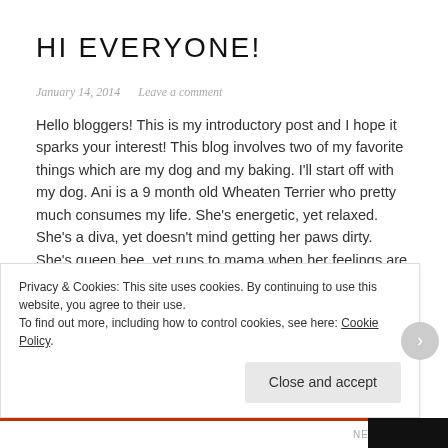HI EVERYONE!
January 14, 2014   Leave a comment
Hello bloggers! This is my introductory post and I hope it sparks your interest! This blog involves two of my favorite things which are my dog and my baking. I'll start off with my dog. Ani is a 9 month old Wheaten Terrier who pretty much consumes my life. She's energetic, yet relaxed. She's a diva, yet doesn't mind getting her paws dirty. She's queen bee, yet runs to mama when her feelings are hurt. She's my
Privacy & Cookies: This site uses cookies. By continuing to use this website, you agree to their use.
To find out more, including how to control cookies, see here: Cookie Policy
Close and accept